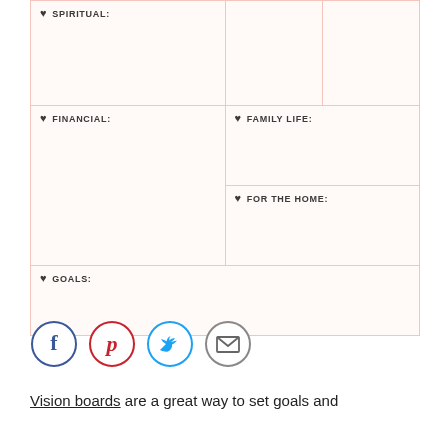| ♥ SPIRITUAL: |  |  |
| ♥ FINANCIAL: | ♥ FAMILY LIFE: |  |
|  | ♥ FOR THE HOME: |  |
| ♥ GOALS: |  |  |
[Figure (infographic): Social sharing icons: Facebook (blue circle with f), Pinterest (red circle with p), Twitter (cyan circle with bird), Email (grey circle with envelope)]
Vision boards are a great way to set goals and